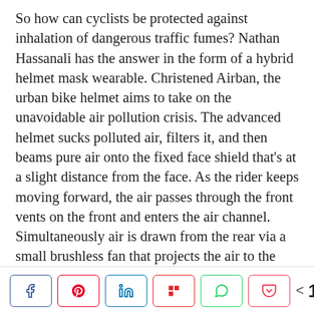So how can cyclists be protected against inhalation of dangerous traffic fumes? Nathan Hassanali has the answer in the form of a hybrid helmet mask wearable. Christened Airban, the urban bike helmet aims to take on the unavoidable air pollution crisis. The advanced helmet sucks polluted air, filters it, and then beams pure air onto the fixed face shield that's at a slight distance from the face. As the rider keeps moving forward, the air passes through the front vents on the front and enters the air channel. Simultaneously air is drawn from the rear via a small brushless fan that projects the air to the breathable position. Air entering the Airban helmet from both these channels is filtered through the HEPA filter which removes 99.97% of 0.3 μm particulates. The activated carbon layer eliminates any smoke, odors, or other pollutants